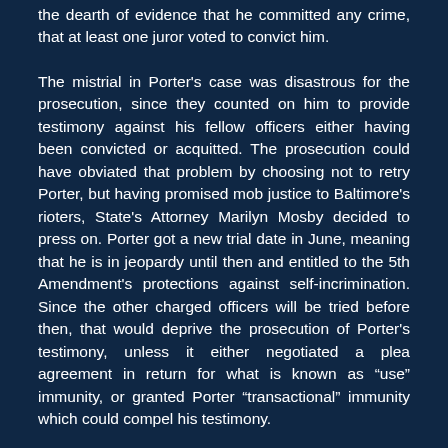the dearth of evidence that he committed any crime, that at least one juror voted to convict him.
The mistrial in Porter's case was disastrous for the prosecution, since they counted on him to provide testimony against his fellow officers either having been convicted or acquitted. The prosecution could have obviated that problem by choosing not to retry Porter, but having promised mob justice to Baltimore's rioters, State's Attorney Marilyn Mosby decided to press on. Porter got a new trial date in June, meaning that he is in jeopardy until then and entitled to the 5th Amendment's protections against self-incrimination. Since the other charged officers will be tried before then, that would deprive the prosecution of Porter's testimony, unless it either negotiated a plea agreement in return for what is known as “use” immunity, or granted Porter “transactional” immunity which could compel his testimony.
The difference between use and transactional immunity is critical, not subject to much debate, and basically first-year law school stuff. Use immunity only prevents the